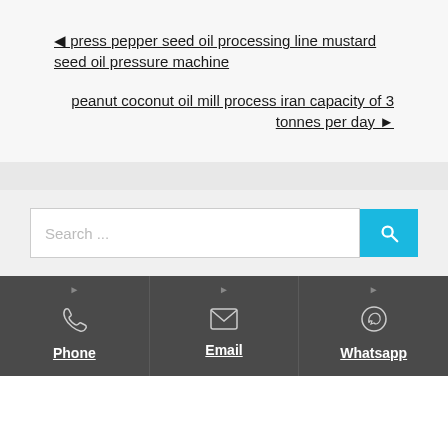◄ press pepper seed oil processing line mustard seed oil pressure machine
peanut coconut oil mill process iran capacity of 3 tonnes per day ►
Search ...
Phone | Email | Whatsapp